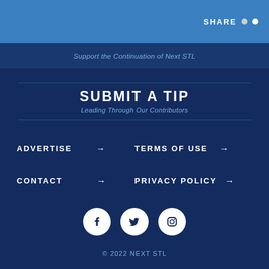SHARE
Support the Continuation of Next STL
SUBMIT A TIP
Leading Through Our Contributors
ADVERTISE →
TERMS OF USE →
CONTACT →
PRIVACY POLICY →
[Figure (illustration): Social media icons: Facebook, Twitter, Instagram (white circles on dark blue background)]
© 2022 NEXT STL